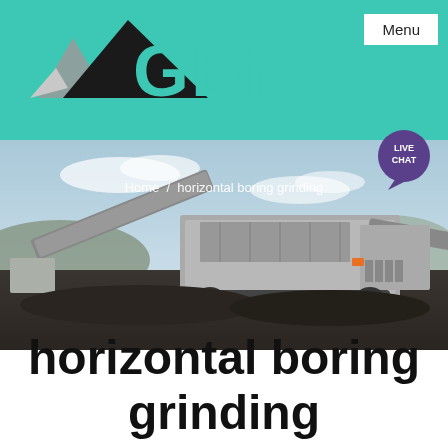GBM | Menu
[Figure (photo): Industrial mobile screening/crushing machine at a mining site with conveyor belts, photographed outdoors against a blue sky with hills in background.]
Home / horizontal boring grinding
horizontal boring grinding